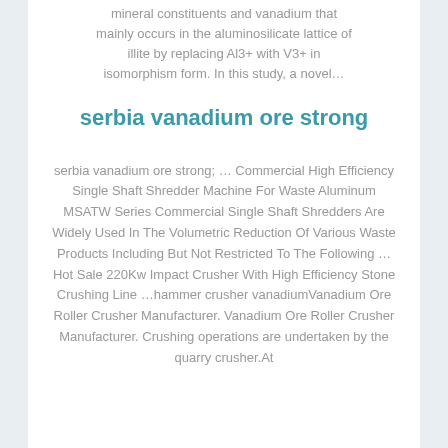mineral constituents and vanadium that mainly occurs in the aluminosilicate lattice of illite by replacing Al3+ with V3+ in isomorphism form. In this study, a novel…
serbia vanadium ore strong
serbia vanadium ore strong; … Commercial High Efficiency Single Shaft Shredder Machine For Waste Aluminum MSATW Series Commercial Single Shaft Shredders Are Widely Used In The Volumetric Reduction Of Various Waste Products Including But Not Restricted To The Following … Hot Sale 220Kw Impact Crusher With High Efficiency Stone Crushing Line …hammer crusher vanadiumVanadium Ore Roller Crusher Manufacturer. Vanadium Ore Roller Crusher Manufacturer. Crushing operations are undertaken by the quarry crusher.At